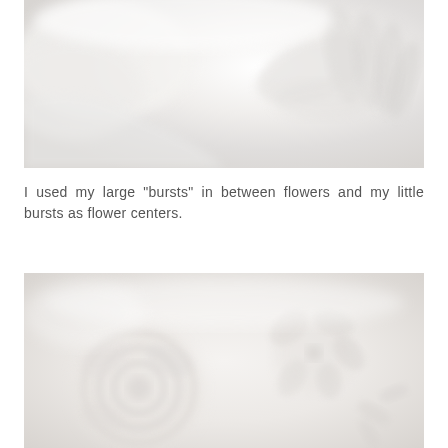[Figure (photo): Close-up soft-focus photograph of white fabric or flower petals and a hand, very pale and high-key with white-on-white aesthetic]
I used my large “bursts” in between flowers and my little bursts as flower centers.
[Figure (photo): Close-up soft-focus photograph of white fabric roses and flower embellishments, very pale and high-key with white-on-white aesthetic]